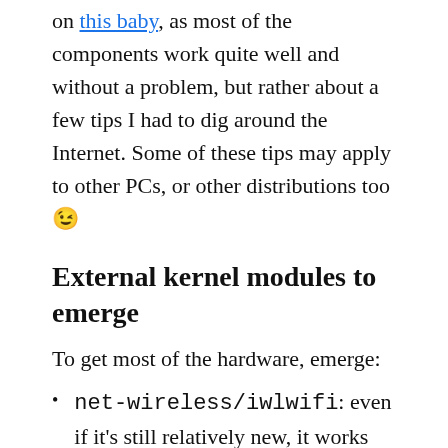on this baby, as most of the components work quite well and without a problem, but rather about a few tips I had to dig around the Internet. Some of these tips may apply to other PCs, or other distributions too 😉
External kernel modules to emerge
To get most of the hardware, emerge:
net-wireless/iwlwifi: even if it's still relatively new, it works much better than ipw3945 for the wifi! Update: merged in kernel, simply emerge net-